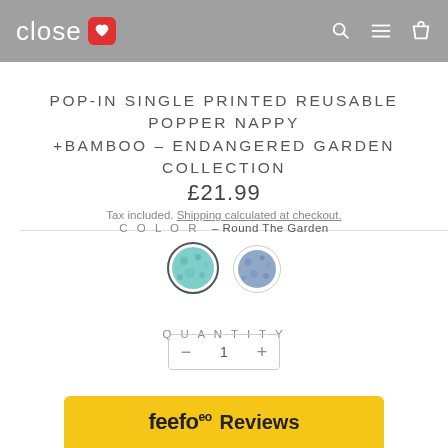close [heart logo] [search] [menu] [bag]
POP-IN SINGLE PRINTED REUSABLE POPPER NAPPY +BAMBOO - ENDANGERED GARDEN COLLECTION
£21.99
Tax included. Shipping calculated at checkout.
COLOR – Round The Garden
[Figure (other): Two circular color swatches: first selected (teal/green floral pattern with dark border), second unselected (blue/purple floral pattern)]
QUANTITY
feefo Reviews